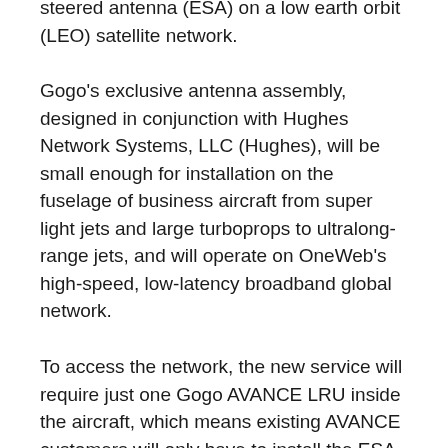steered antenna (ESA) on a low earth orbit (LEO) satellite network.
Gogo's exclusive antenna assembly, designed in conjunction with Hughes Network Systems, LLC (Hughes), will be small enough for installation on the fuselage of business aircraft from super light jets and large turboprops to ultralong-range jets, and will operate on OneWeb's high-speed, low-latency broadband global network.
To access the network, the new service will require just one Gogo AVANCE LRU inside the aircraft, which means existing AVANCE customers will only have to install the ESA antenna, with a single cable for power in, and a single cable for data out.
“This will be a fast and affordable broadband system that will provide best-in-class global performance on the broadest range of aircraft in business aviation,"